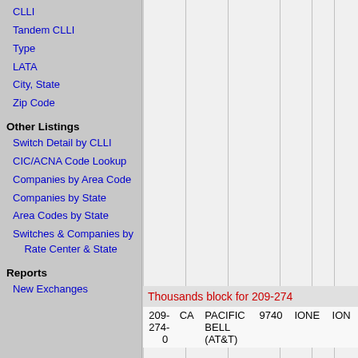CLLI
Tandem CLLI
Type
LATA
City, State
Zip Code
Other Listings
Switch Detail by CLLI
CIC/ACNA Code Lookup
Companies by Area Code
Companies by State
Area Codes by State
Switches & Companies by Rate Center & State
Reports
New Exchanges
Thousands block for 209-274
| 209-274-0 | CA | PACIFIC BELL (AT&T) | 9740 | IONE | ION |